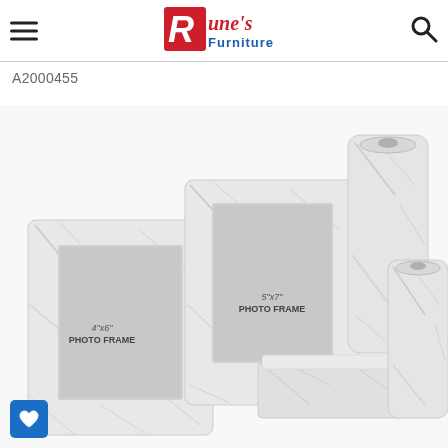[Figure (logo): Rune's Furniture logo — red square with white italic R, text 'Rune's' in red script and 'Furniture' in blue below]
A2000455
[Figure (photo): Set of marble-look white ceramic/resin home accessories: two photo frames (4x6 and 5x7), two cylindrical vases, and a rectangular tray/box, all with grey marbling pattern on white background]